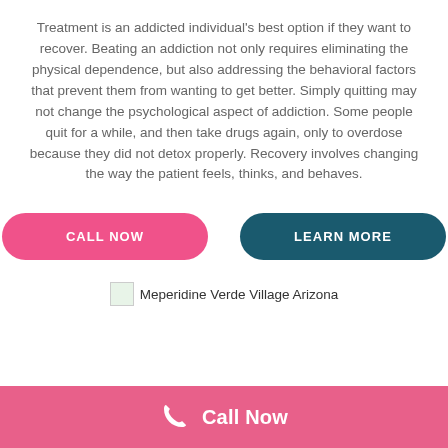Treatment is an addicted individual's best option if they want to recover. Beating an addiction not only requires eliminating the physical dependence, but also addressing the behavioral factors that prevent them from wanting to get better. Simply quitting may not change the psychological aspect of addiction. Some people quit for a while, and then take drugs again, only to overdose because they did not detox properly. Recovery involves changing the way the patient feels, thinks, and behaves.
CALL NOW
LEARN MORE
Meperidine Verde Village Arizona
Call Now